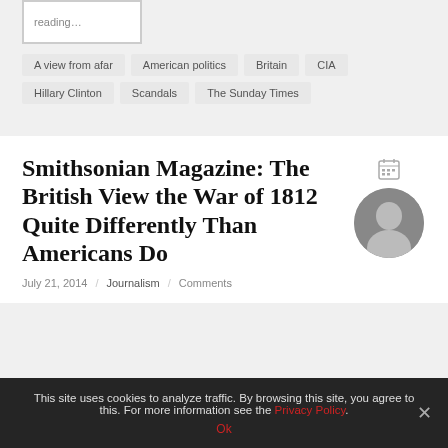[Figure (other): Placeholder image box with 'reading...' text]
A view from afar
American politics
Britain
CIA
Hillary Clinton
Scandals
The Sunday Times
Smithsonian Magazine: The British View the War of 1812 Quite Differently Than Americans Do
July 21, 2014 / Journalism / Comments
This site uses cookies to analyze traffic. By browsing this site, you agree to this. For more information see the Privacy Policy.
Ok